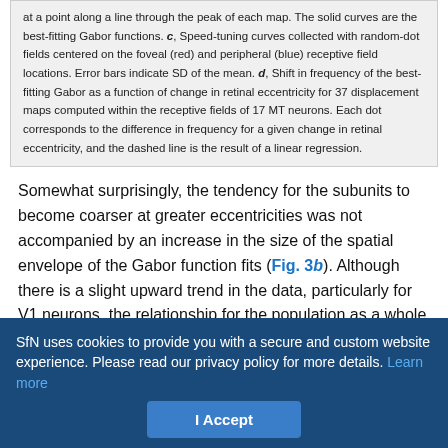at a point along a line through the peak of each map. The solid curves are the best-fitting Gabor functions. c, Speed-tuning curves collected with random-dot fields centered on the foveal (red) and peripheral (blue) receptive field locations. Error bars indicate SD of the mean. d, Shift in frequency of the best-fitting Gabor as a function of change in retinal eccentricity for 37 displacement maps computed within the receptive fields of 17 MT neurons. Each dot corresponds to the difference in frequency for a given change in retinal eccentricity, and the dashed line is the result of a linear regression.
Somewhat surprisingly, the tendency for the subunits to become coarser at greater eccentricities was not accompanied by an increase in the size of the spatial envelope of the Gabor function fits (Fig. 3b). Although there is a slight upward trend in the data, particularly for V1 neurons, the relationship for the population as a whole did not reach significance (linear regression, p > 0.1). Based
SfN uses cookies to provide you with a secure and custom website experience. Please read our privacy policy for more details. Learn more